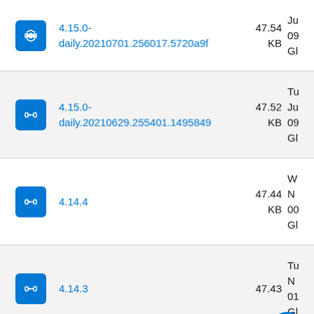4.15.0-daily.20210701.256017.5720a9f — 47.54 KB
4.15.0-daily.20210629.255401.1495849 — 47.52 KB
4.14.4 — 47.44 KB
4.14.3 — 47.43 KB